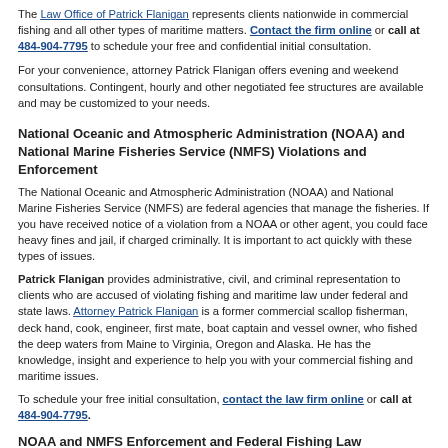The Law Office of Patrick Flanigan represents clients nationwide in commercial fishing and all other types of maritime matters. Contact the firm online or call at 484-904-7795 to schedule your free and confidential initial consultation.
For your convenience, attorney Patrick Flanigan offers evening and weekend consultations. Contingent, hourly and other negotiated fee structures are available and may be customized to your needs.
National Oceanic and Atmospheric Administration (NOAA) and National Marine Fisheries Service (NMFS) Violations and Enforcement
The National Oceanic and Atmospheric Administration (NOAA) and National Marine Fisheries Service (NMFS) are federal agencies that manage the fisheries. If you have received notice of a violation from a NOAA or other agent, you could face heavy fines and jail, if charged criminally. It is important to act quickly with these types of issues.
Patrick Flanigan provides administrative, civil, and criminal representation to clients who are accused of violating fishing and maritime law under federal and state laws. Attorney Patrick Flanigan is a former commercial scallop fisherman, deck hand, cook, engineer, first mate, boat captain and vessel owner, who fished the deep waters from Maine to Virginia, Oregon and Alaska. He has the knowledge, insight and experience to help you with your commercial fishing and maritime issues.
To schedule your free initial consultation, contact the law firm online or call at 484-904-7795.
NOAA and NMFS Enforcement and Federal Fishing Law